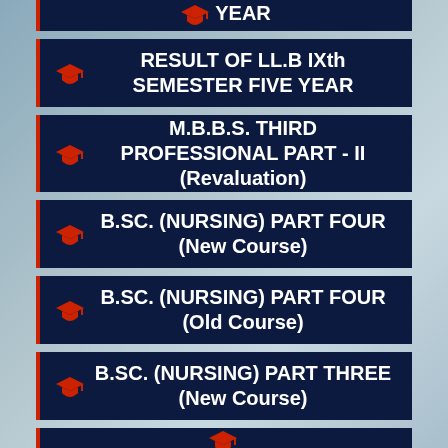RESULT OF LL.B IXth SEMESTER FIVE YEAR
M.B.B.S. THIRD PROFESSIONAL PART - II (Revaluation)
B.SC. (NURSING) PART FOUR (New Course)
B.SC. (NURSING) PART FOUR (Old Course)
B.SC. (NURSING) PART THREE (New Course)